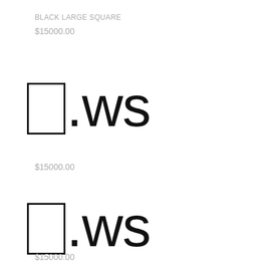BLACK LARGE SQUARE
$15000.00
⬜.ws
$15000.00
⬜.ws
$15000.00